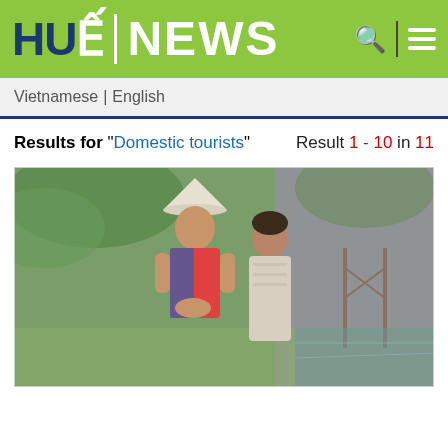HUẾ | NEWS
Vietnamese | English
Results for "Domestic tourists"   Result 1 - 10 in 11
[Figure (photo): Two people standing outdoors, one wearing a traditional Vietnamese conical hat and colorful shirt, the other in light-colored clothing, with a green garden/water background]